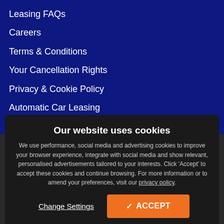Leasing FAQs
Careers
Terms & Conditions
Your Cancellation Rights
Privacy & Cookie Policy
Automatic Car Leasing
Our website uses cookies

We use performance, social media and advertising cookies to improve your browser experience, integrate with social media and show relevant, personalised advertisements tailored to your interests. Click 'Accept' to accept these cookies and continue browsing. For more information or to amend your preferences, visit our privacy policy.
Change Settings
✓ ACCEPT